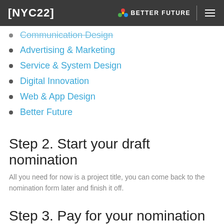[NYC22]  BETTER FUTURE
Communication Design (partial)
Advertising & Marketing
Service & System Design
Digital Innovation
Web & App Design
Better Future
Step 2. Start your draft nomination
All you need for now is a project title, you can come back to the nomination form later and finish it off.
Step 3.  Pay for your nomination
Pay now to lock in the current nomination price before we update our pricing.